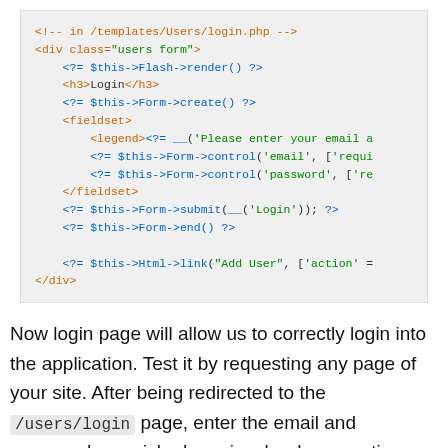[Figure (screenshot): Code block showing PHP/HTML template code for a login page in /templates/Users/login.php]
Now login page will allow us to correctly login into the application. Test it by requesting any page of your site. After being redirected to the /users/login page, enter the email and password you picked previously when creating your user. You should be redirected successfully after login.